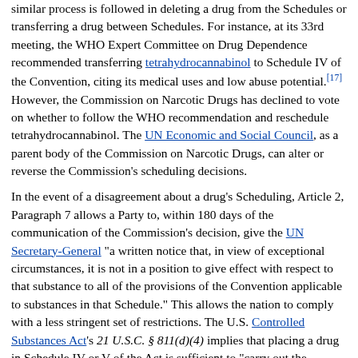similar process is followed in deleting a drug from the Schedules or transferring a drug between Schedules. For instance, at its 33rd meeting, the WHO Expert Committee on Drug Dependence recommended transferring tetrahydrocannabinol to Schedule IV of the Convention, citing its medical uses and low abuse potential.[17] However, the Commission on Narcotic Drugs has declined to vote on whether to follow the WHO recommendation and reschedule tetrahydrocannabinol. The UN Economic and Social Council, as a parent body of the Commission on Narcotic Drugs, can alter or reverse the Commission's scheduling decisions.
In the event of a disagreement about a drug's Scheduling, Article 2, Paragraph 7 allows a Party to, within 180 days of the communication of the Commission's decision, give the UN Secretary-General "a written notice that, in view of exceptional circumstances, it is not in a position to give effect with respect to that substance to all of the provisions of the Convention applicable to substances in that Schedule." This allows the nation to comply with a less stringent set of restrictions. The U.S. Controlled Substances Act's 21 U.S.C. § 811(d)(4) implies that placing a drug in Schedule IV or V of the Act is sufficient to "carry out the minimum United States obligations under paragraph 7 of article 2 of the Convention".[18] This provision, which calls for temporarily placing a drug under federal drug control in the event the Convention requires it, was invoked in 1984 with Rohypnol